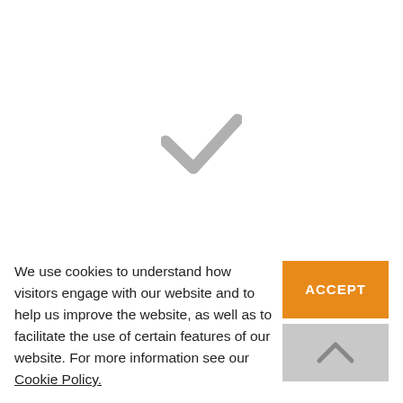[Figure (illustration): Large grey checkmark/tick icon centered in the upper portion of the page]
We create tailormade training programs to ensure your distinct requirements and goals can be achieved with our
We use cookies to understand how visitors engage with our website and to help us improve the website, as well as to facilitate the use of certain features of our website. For more information see our Cookie Policy.